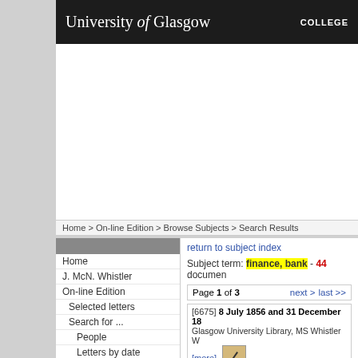University of Glasgow   COLLEGE
Home > On-line Edition > Browse Subjects > Search Results
Home
J. McN. Whistler
On-line Edition
Selected letters
Search for ...
People
Letters by date
Subjects
Works of Art
Exhibitions
Institutions
Places
Freetext
Record No
Contacts
Resources
return to subject index
Subject term: finance, bank - 44 documents
Page 1 of 3   next >   last >>
[6675] 8 July 1856 and 31 December 18... Glasgow University Library, MS Whistler W... [more]
[12125] 31 January 1866: JW to The Ma... Library of Congress, PWC 2/3/1 [more]
[13752] [11?] June 1866: James Sharpe... Library of Congress, K1